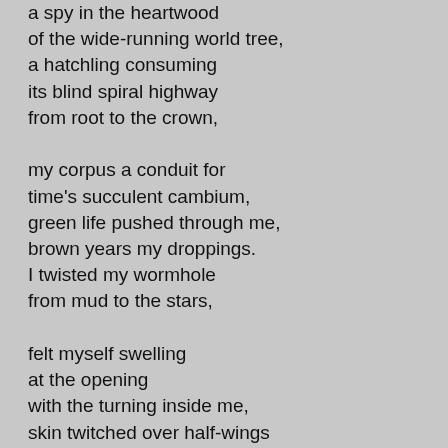a spy in the heartwood
of the wide-running world tree,
a hatchling consuming
its blind spiral highway
from root to the crown,

my corpus a conduit for
time's succulent cambium,
green life pushed through me,
brown years my droppings.
I twisted my wormhole
from mud to the stars,

felt myself swelling
at the opening
with the turning inside me,
skin twitched over half-wings
as I poked my pale head out,
lightning burned into

the thousand sharp mirrors
of my faceted eyes--
but I saw what I saw,